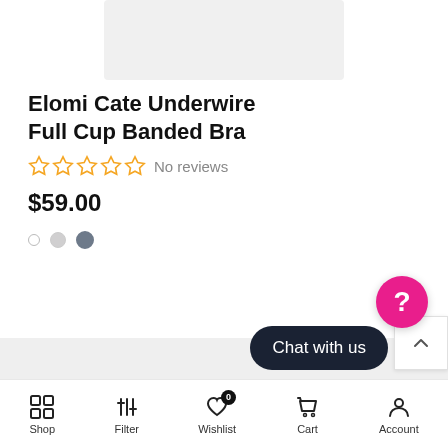[Figure (photo): Product image placeholder - light gray rectangle]
Elomi Cate Underwire Full Cup Banded Bra
☆ ☆ ☆ ☆ ☆ No reviews
$59.00
Color swatches: white dot, light gray dot, dark gray dot
Chat with us
Shop | Filter | Wishlist | Cart | Account